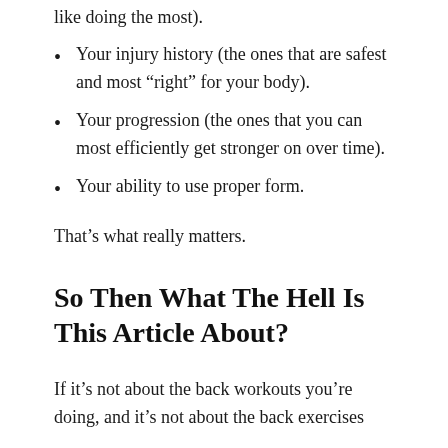like doing the most).
Your injury history (the ones that are safest and most “right” for your body).
Your progression (the ones that you can most efficiently get stronger on over time).
Your ability to use proper form.
That’s what really matters.
So Then What The Hell Is This Article About?
If it’s not about the back workouts you’re doing, and it’s not about the back exercises